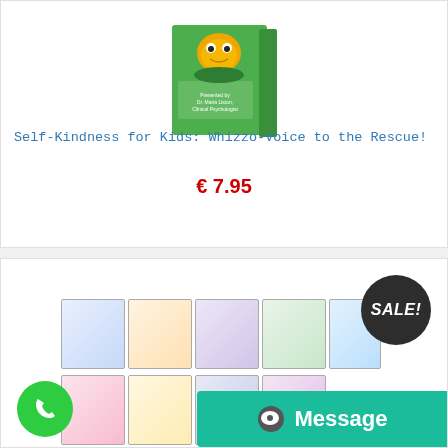[Figure (photo): Book cover of 'Self-Kindness for Kids: Whizzo-Voice to the Rescue!' with green background and cartoon frog illustration]
Self-Kindness for Kids: Whizzo-Voice to the Rescue!
€ 7.95
[Figure (photo): Grid of multiple educational workbooks titled 'Nurturing Well-Being' for different class levels, Tools of Resilience Pupil Books, with SALE badge overlay]
[Figure (other): Green phone call button (circular)]
[Figure (other): Teal Message bar with chat bubble icon]